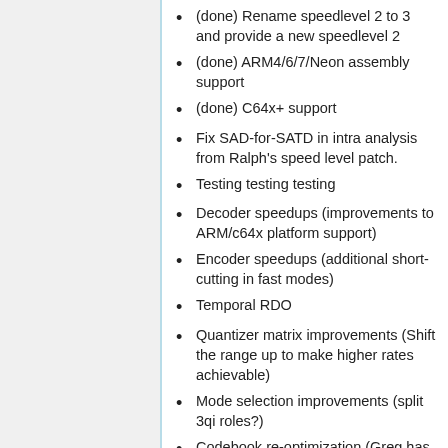(done) Rename speedlevel 2 to 3 and provide a new speedlevel 2
(done) ARM4/6/7/Neon assembly support
(done) C64x+ support
Fix SAD-for-SATD in intra analysis from Ralph's speed level patch.
Testing testing testing
Decoder speedups (improvements to ARM/c64x platform support)
Encoder speedups (additional short-cutting in fast modes)
Temporal RDO
Quantizer matrix improvements (Shift the range up to make higher rates achievable)
Mode selection improvements (split 3qi roles?)
Codebook re-optimization (Greg has …)